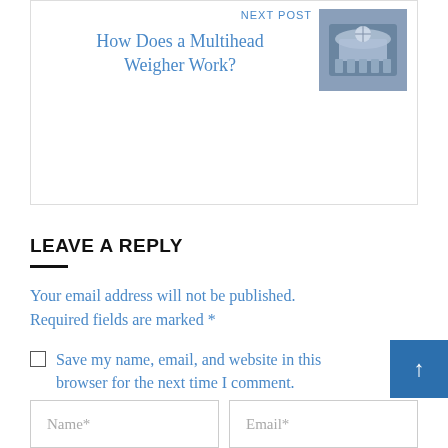NEXT POST
How Does a Multihead Weigher Work?
[Figure (photo): Industrial multihead weigher machine photo]
LEAVE A REPLY
Your email address will not be published. Required fields are marked *
Save my name, email, and website in this browser for the next time I comment.
Name*
Email*